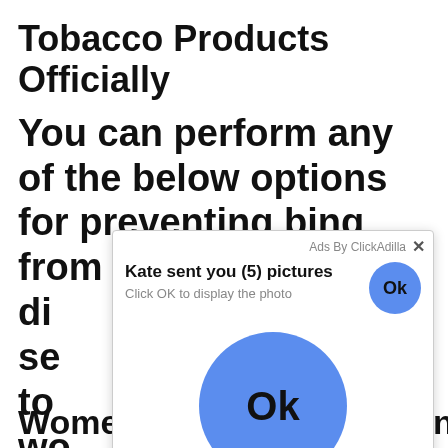Tobacco Products Officially
You can perform any of the below options for preventing bing from crawling and di… se… to… wo… fro… st…
[Figure (screenshot): Ad overlay popup from ClickAdilla: 'Kate sent you (5) pictures. Click OK to display the photo.' with a small blue Ok button top right and a large blue Ok button centered in the overlay. Timestamp '2sd' at bottom right.]
Women only are allowed in